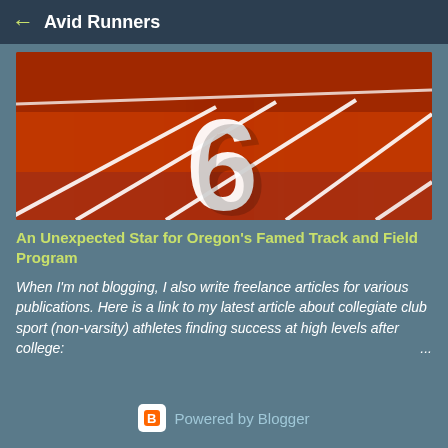← Avid Runners
[Figure (photo): Red running track surface with white lane lines and a large white number 6 painted on lane 6, viewed from a low angle perspective]
An Unexpected Star for Oregon's Famed Track and Field Program
When I'm not blogging, I also write freelance articles for various publications. Here is a link to my latest article about collegiate club sport (non-varsity) athletes finding success at high levels after college: ...
Powered by Blogger